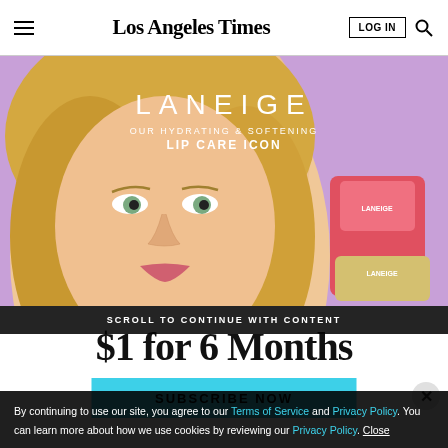Los Angeles Times | LOG IN | Search
[Figure (photo): Laneige advertisement banner showing a blonde woman closeup with lip care products on a purple background. Text reads: LANEIGE - OUR HYDRATING & SOFTENING LIP CARE ICON]
SCROLL TO CONTINUE WITH CONTENT
$1 for 6 Months
SUBSCRIBE NOW
By continuing to use our site, you agree to our Terms of Service and Privacy Policy. You can learn more about how we use cookies by reviewing our Privacy Policy. Close